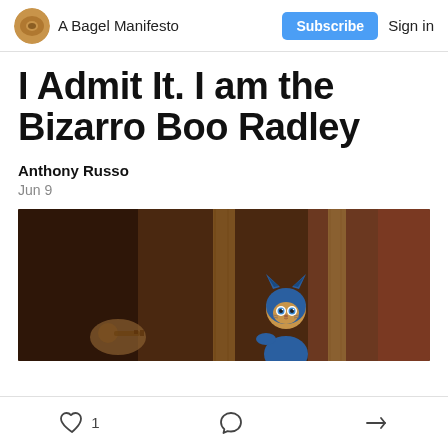A Bagel Manifesto | Subscribe | Sign in
I Admit It. I am the Bizarro Boo Radley
Anthony Russo
Jun 9
[Figure (photo): A PJ Masks Catboy figure peeking out from behind a wooden structure in a dimly lit, earthy-toned scene.]
1 like, comment, share